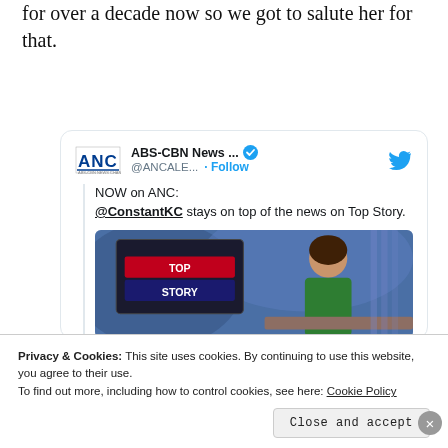for over a decade now so we got to salute her for that.
[Figure (screenshot): Embedded tweet from ABS-CBN News (@ANCALE...) with verified badge and Twitter bird icon. Tweet text: 'NOW on ANC: @ConstantKC stays on top of the news on Top Story.' with a thumbnail image of a female news anchor at a desk with 'TOP STORY' displayed on a screen behind her.]
Privacy & Cookies: This site uses cookies. By continuing to use this website, you agree to their use.
To find out more, including how to control cookies, see here: Cookie Policy
Close and accept